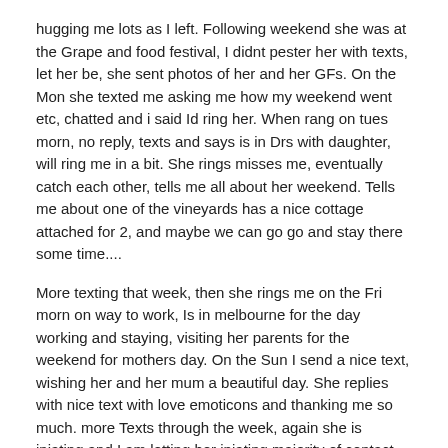hugging me lots as I left. Following weekend she was at the Grape and food festival, I didnt pester her with texts, let her be, she sent photos of her and her GFs. On the Mon she texted me asking me how my weekend went etc, chatted and i said Id ring her. When rang on tues morn, no reply, texts and says is in Drs with daughter, will ring me in a bit. She rings misses me, eventually catch each other, tells me all about her weekend. Tells me about one of the vineyards has a nice cottage attached for 2, and maybe we can go go and stay there some time....
More texting that week, then she rings me on the Fri morn on way to work, Is in melbourne for the day working and staying, visiting her parents for the weekend for mothers day. On the Sun I send a nice text, wishing her and her mum a beautiful day. She replies with nice text with love emoticons and thanking me so much. more Texts through the week, again she is iniating and I am letting her iniating majority of contact. She rings me Tues night for 25 mins, Wed night for 30 mins, and on way to Airport on Thurs I ring her ,we chat for 40 mins. She brings up the romantic cottage away I had booked for the end of thsi month. Says lol, had been asked to work but said no, have arrangements and am going away. then says about having nice wines to bring